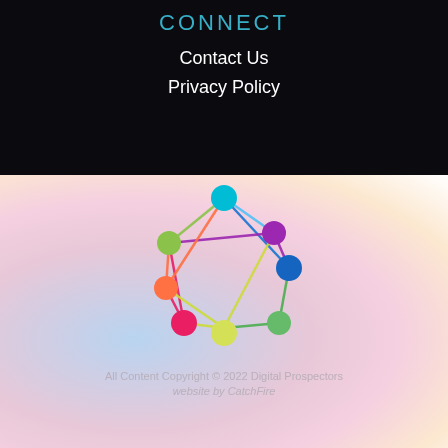CONNECT
Contact Us
Privacy Policy
[Figure (logo): Colorful network graph logo with nodes in cyan, green, purple, orange, blue, pink, yellow, and green connected by colored lines forming a star/mesh pattern]
All Content Copyright © 2022 Digital Prospectors
website by CatchFire